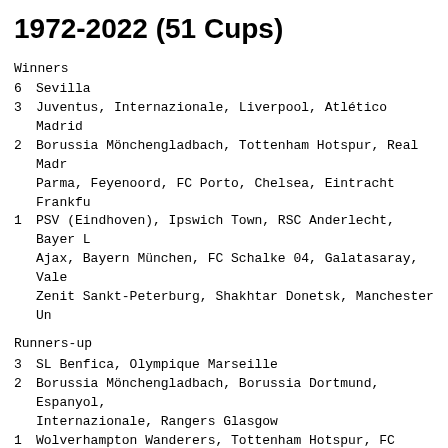1972-2022 (51 Cups)
Winners
6  Sevilla
3  Juventus, Internazionale, Liverpool, Atlético Madrid
2  Borussia Mönchengladbach, Tottenham Hotspur, Real Madrid, Parma, Feyenoord, FC Porto, Chelsea, Eintracht Frankfurt
1  PSV (Eindhoven), Ipswich Town, RSC Anderlecht, Bayer Leverkusen, Ajax, Bayern München, FC Schalke 04, Galatasaray, Valencia, Zenit Sankt-Peterburg, Shakhtar Donetsk, Manchester United
Runners-up
3  SL Benfica, Olympique Marseille
2  Borussia Mönchengladbach, Borussia Dortmund, Espanyol, Internazionale, Rangers Glasgow
1  Wolverhampton Wanderers, Tottenham Hotspur, FC Twente, SEC Bastia, Crvena Zvezda (Beograd), AZ '67 (Alkmaar), RSC Anderlecht, Videoton, 1.FC Köln, Dundee United, Roma, Torino, Salzburg, Juventus, Girondins Bordeaux, Celtic Glasgow, Sporting CP Lisboa, Middlesbrough, Sporting Braga, Dnipro Dnipropetrovsk, Liverpool, Ajax
Finalists
6  Sevilla
5  Internazionale
4  Borussia Mönchengladbach, Juventus, Liverpool
3  Tottenham Hotspur, SL Benfica, Olympique Marseille, Atlético Madrid
2  RSC Anderlecht, Real Madrid, IFK Göteborg, Parma, Feyenoord, Espanyol, FC Porto, Athletic Bilbao, Ajax, Chelsea, Ajax